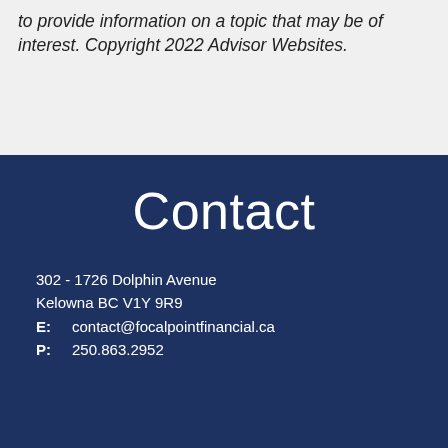to provide information on a topic that may be of interest. Copyright 2022 Advisor Websites.
Contact
302 - 1726 Dolphin Avenue
Kelowna BC V1Y 9R9
E: contact@focalpointfinancial.ca
P: 250.863.2952